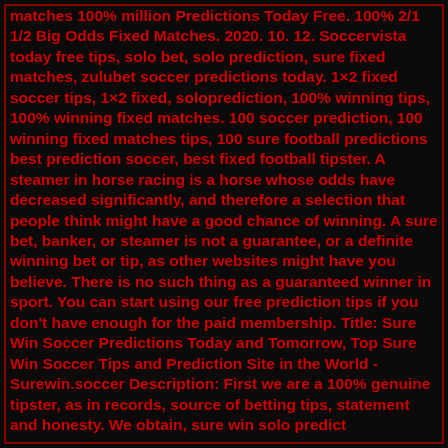matches 100% million Predictions Today Free. 100% 2/1 1/2 Big Odds Fixed Matches. 2020. 10. 12. Soccervista today free tips, solo bet, solo prediction, sure fixed matches, zulubet soccer predictions today. 1×2 fixed soccer tips, 1×2 fixed, soloprediction, 100% winning tips, 100% winning fixed matches. 100 soccer prediction, 100 winning fixed matches tips, 100 sure football predictions best prediction soccer, best fixed football tipster. A steamer in horse racing is a horse whose odds have decreased significantly, and therefore a selection that people think might have a good chance of winning. A sure bet, banker, or steamer is not a guarantee, or a definite winning bet or tip, as other websites might have you believe. There is no such thing as a guaranteed winner in sport. You can start using our free prediction tips if you don't have enough for the paid membership. Title: Sure Win Soccer Predictions Today and Tomorrow, Top Sure Win Soccer Tips and Prediction Site in the World - Surewin.soccer Description: First we are a 100% genuine tipster, as in records, source of betting tips, statement and honesty. We obtain, sure win solo predict